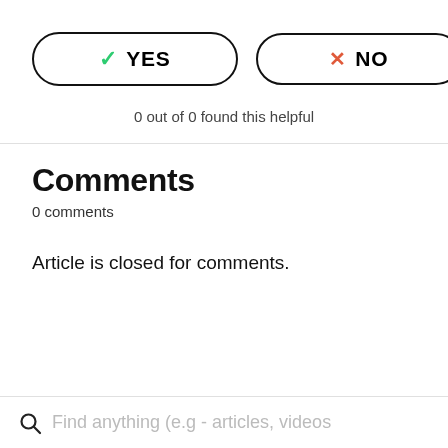[Figure (other): Two pill-shaped buttons: YES with green checkmark and NO with red X]
0 out of 0 found this helpful
Comments
0 comments
Article is closed for comments.
Find anything (e.g - articles, videos